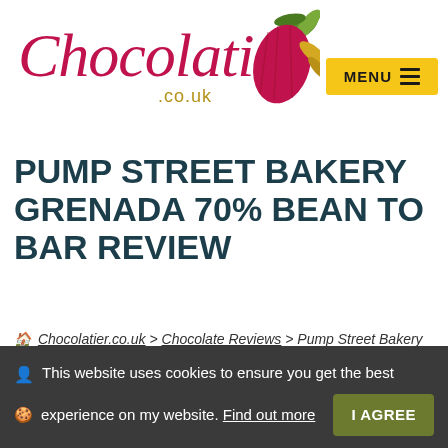[Figure (logo): Chocolatier.co.uk logo with cursive script text and a cacao pod illustration]
[Figure (other): Yellow MENU button with hamburger icon lines]
PUMP STREET BAKERY GRENADA 70% BEAN TO BAR REVIEW
Chocolatier.co.uk > Chocolate Reviews > Pump Street Bakery Grenada 70% Bean To Bar Review
This website uses cookies to ensure you get the best experience on my website. Find out more  I AGREE